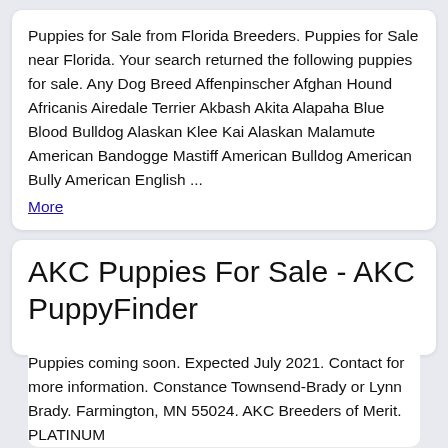Puppies for Sale from Florida Breeders. Puppies for Sale near Florida. Your search returned the following puppies for sale. Any Dog Breed Affenpinscher Afghan Hound Africanis Airedale Terrier Akbash Akita Alapaha Blue Blood Bulldog Alaskan Klee Kai Alaskan Malamute American Bandogge Mastiff American Bulldog American Bully American English ... More
AKC Puppies For Sale - AKC PuppyFinder
Puppies coming soon. Expected July 2021. Contact for more information. Constance Townsend-Brady or Lynn Brady. Farmington, MN 55024. AKC Breeders of Merit. PLATINUM